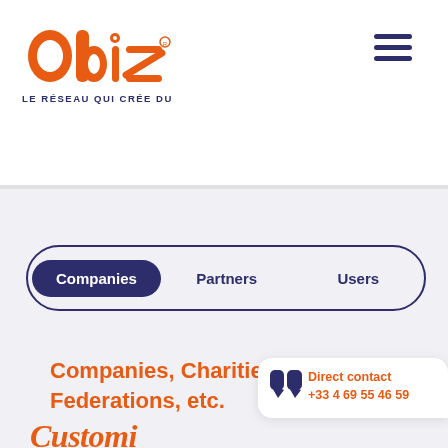[Figure (logo): Obiz logo — orange rounded letters spelling 'obiz' with registered trademark, subtitle 'LE RÉSEAU QUI CRÉE DU LIEN' in dark blue below]
[Figure (other): Hamburger menu icon (three horizontal dark lines) in top right corner]
Companies   Partners   Users
Companies, Charities, Federations, etc.
Direct contact +33 4 69 55 46 59